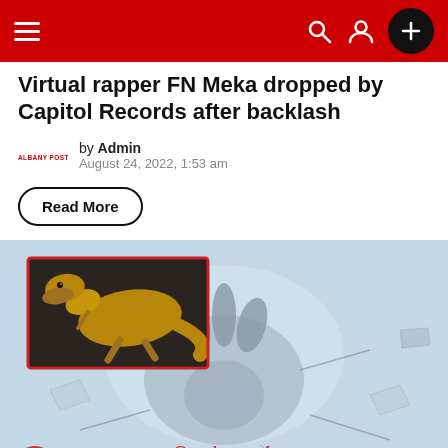Navigation bar with hamburger menu, search, user, and plus icons
Virtual rapper FN Meka dropped by Capitol Records after backlash
by Admin
August 24, 2022, 1:53 am
Read More
[Figure (photo): A large dinosaur footprint impression in cracked rocky ground, with an inset image in the upper-left showing a golden-brown dinosaur (theropod). Watermark text '@raphouse.fr' visible in red at the bottom center.]